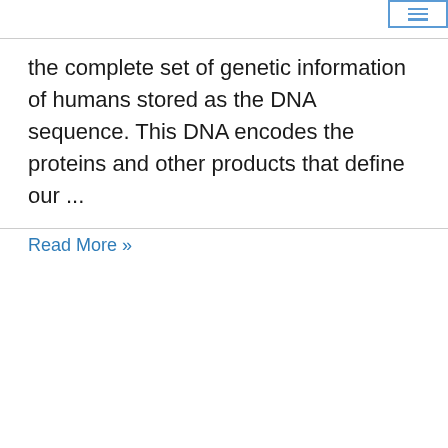the complete set of genetic information of humans stored as the DNA sequence. This DNA encodes the proteins and other products that define our ...
Read More »